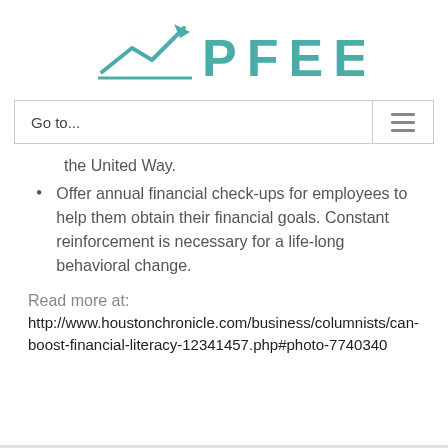PFEEF
Go to...
the United Way.
Offer annual financial check-ups for employees to help them obtain their financial goals. Constant reinforcement is necessary for a life-long behavioral change.
Read more at:
http://www.houstonchronicle.com/business/columnists/can-boost-financial-literacy-12341457.php#photo-7740340